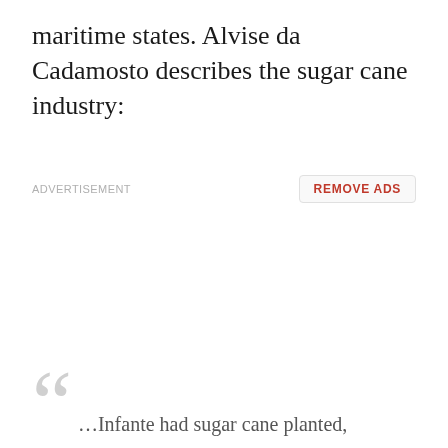maritime states. Alvise da Cadamosto describes the sugar cane industry:
ADVERTISEMENT
REMOVE ADS
…Infante had sugar cane planted,